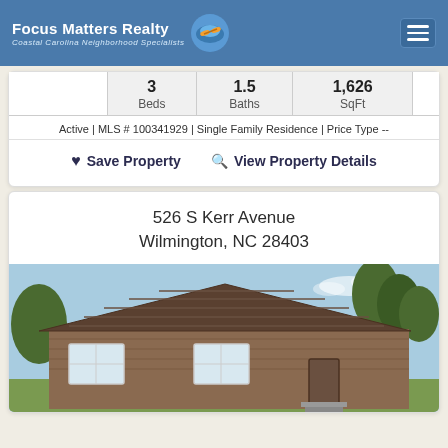Focus Matters Realty | Coastal Carolina Neighborhood Specialists
|  | Beds | Baths | SqFt |
| --- | --- | --- | --- |
|  | 3 | 1.5 | 1,626 |
Active | MLS # 100341929 | Single Family Residence | Price Type --
Save Property   View Property Details
526 S Kerr Avenue
Wilmington, NC 28403
[Figure (photo): Exterior photo of a single-story ranch-style house with brown siding, white trim windows, and a front entrance with small steps, surrounded by trees under a blue sky]